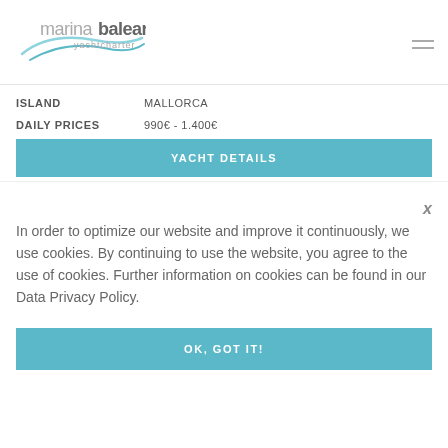[Figure (logo): Marina Balear yachtcharter logo with swoosh graphic]
ISLAND   MALLORCA
DAILY PRICES   990€ - 1.400€
YACHT DETAILS
x
In order to optimize our website and improve it continuously, we use cookies. By continuing to use the website, you agree to the use of cookies. Further information on cookies can be found in our Data Privacy Policy.
OK, GOT IT!